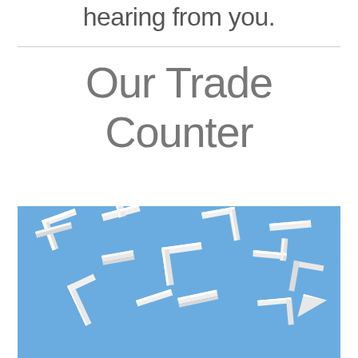hearing from you.
Our Trade Counter
[Figure (photo): White plastic cable trunking fittings (corner pieces, tee pieces, end caps) arranged on a blue background]